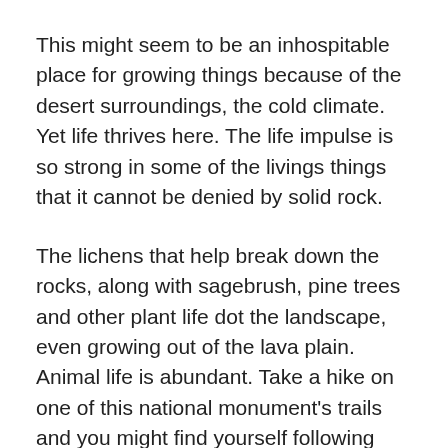This might seem to be an inhospitable place for growing things because of the desert surroundings, the cold climate. Yet life thrives here. The life impulse is so strong in some of the livings things that it cannot be denied by solid rock.
The lichens that help break down the rocks, along with sagebrush, pine trees and other plant life dot the landscape, even growing out of the lava plain. Animal life is abundant. Take a hike on one of this national monument's trails and you might find yourself following deer tracks.
The life-fostering processes at work here will seem familiar to scientists. But there might well be disagreement among observers over just how these processes were initiated